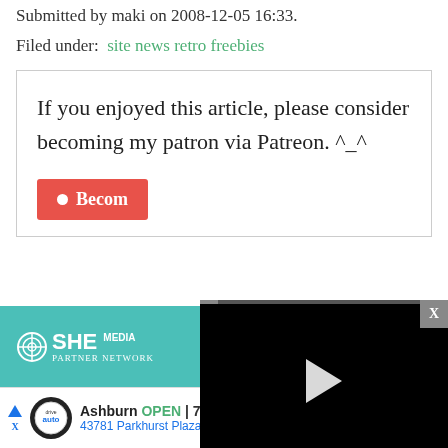Submitted by maki on 2008-12-05 16:33.
Filed under:  site news retro freebies
If you enjoyed this article, please consider becoming my patron via Patreon. ^_^
[Figure (screenshot): Video player overlay showing play button, progress bar at 13:52, controls including mute, CC, grid, settings, and fullscreen buttons]
[Figure (screenshot): SHE Media Partner Network banner with 'BECOME A MEMBER' button on teal background]
[Figure (screenshot): Google ad for Ashburn auto service: OPEN 7:30AM-6PM, 43781 Parkhurst Plaza, Ashburn]